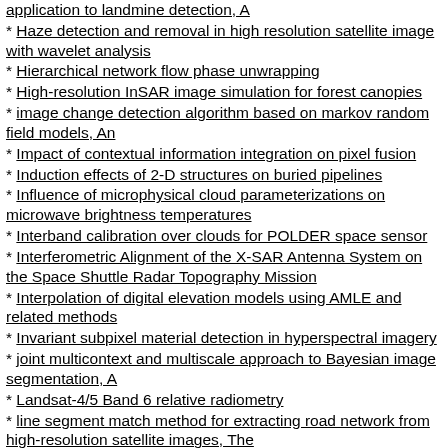application to landmine detection, A
Haze detection and removal in high resolution satellite image with wavelet analysis
Hierarchical network flow phase unwrapping
High-resolution InSAR image simulation for forest canopies
image change detection algorithm based on markov random field models, An
Impact of contextual information integration on pixel fusion
Induction effects of 2-D structures on buried pipelines
Influence of microphysical cloud parameterizations on microwave brightness temperatures
Interband calibration over clouds for POLDER space sensor
Interferometric Alignment of the X-SAR Antenna System on the Space Shuttle Radar Topography Mission
Interpolation of digital elevation models using AMLE and related methods
Invariant subpixel material detection in hyperspectral imagery
joint multicontext and multiscale approach to Bayesian image segmentation, A
Landsat-4/5 Band 6 relative radiometry
line segment match method for extracting road network from high-resolution satellite images, The
linear prediction land mine detection algorithm for hand hold ground penetrating radar, A